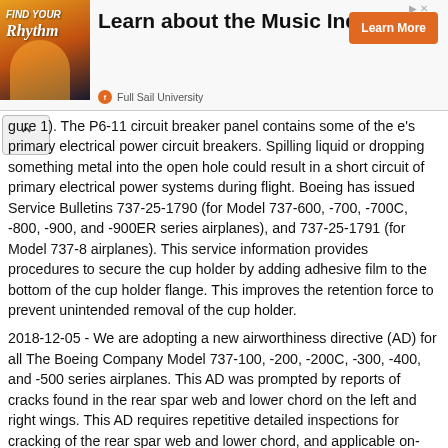[Figure (advertisement): Ad banner for Full Sail University - Learn about the Music Industry with Learn More button]
gure 1). The P6-11 circuit breaker panel contains some of the e's primary electrical power circuit breakers. Spilling liquid or dropping something metal into the open hole could result in a short circuit of primary electrical power systems during flight. Boeing has issued Service Bulletins 737-25-1790 (for Model 737-600, -700, -700C, -800, -900, and -900ER series airplanes), and 737-25-1791 (for Model 737-8 airplanes). This service information provides procedures to secure the cup holder by adding adhesive film to the bottom of the cup holder flange. This improves the retention force to prevent unintended removal of the cup holder.
2018-12-05 - We are adopting a new airworthiness directive (AD) for all The Boeing Company Model 737-100, -200, -200C, -300, -400, and -500 series airplanes. This AD was prompted by reports of cracks found in the rear spar web and lower chord on the left and right wings. This AD requires repetitive detailed inspections for cracking of the rear spar web and lower chord, and applicable on-condition actions. We are issuing this AD to address the unsafe condition on these products.
2018-10-12 - We are adopting a new airworthiness directive (AD) for all The Boeing Company Model 737-100, -200, -200C, -300, -400, and -500 series airplanes. This AD requires repetitive high frequency